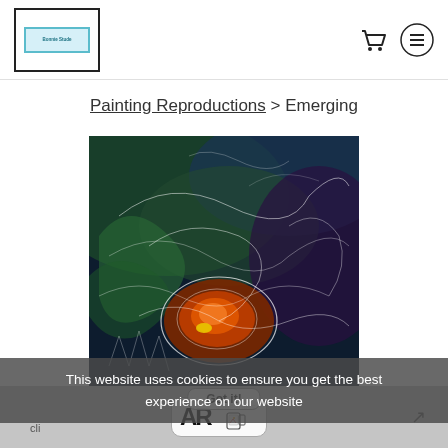[Figure (logo): Bonnie Stude studio logo in a bordered box with teal inner rectangle]
[Figure (other): Shopping cart icon and hamburger menu icon in top right header]
Painting Reproductions > Emerging
[Figure (illustration): Colorful abstract painting titled 'Emerging' with swirling greens, blues, purples and an orange/red cave-like focal point with outlines]
This website uses cookies to ensure you get the best experience on our website
[Figure (logo): AR Compatible badge with phone icon]
cli...